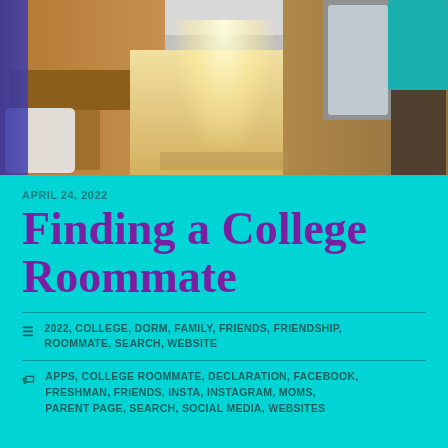[Figure (photo): Interior photo of a college dorm room showing two beds/desks on either side with a narrow aisle and light-colored floor between them]
APRIL 24, 2022
Finding a College Roommate
2022, COLLEGE, DORM, FAMILY, FRIENDS, FRIENDSHIP, ROOMMATE, SEARCH, WEBSITE
APPS, COLLEGE ROOMMATE, DECLARATION, FACEBOOK, FRESHMAN, FRIENDS, INSTA, INSTAGRAM, MOMS, PARENT PAGE, SEARCH, SOCIAL MEDIA, WEBSITES